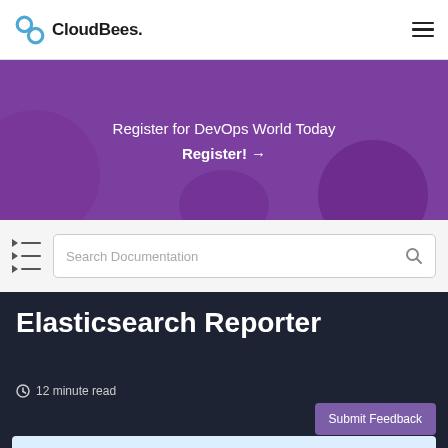CloudBees
[Figure (infographic): Purple banner with text: Register for DevOps World Today. Register! →]
Search Documentation
Elasticsearch Reporter
12 minute read
Submit Feedback